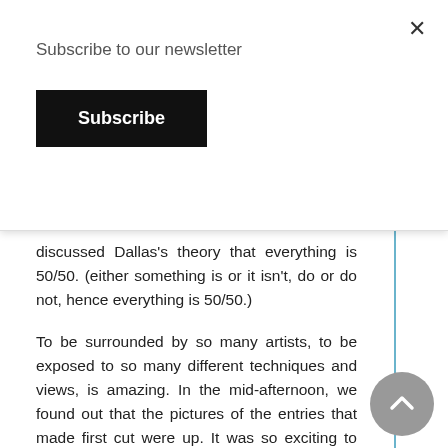Subscribe to our newsletter
Subscribe
discussed Dallas's theory that everything is 50/50. (either something is or it isn't, do or do not, hence everything is 50/50.)
To be surrounded by so many artists, to be exposed to so many different techniques and views, is amazing. In the mid-afternoon, we found out that the pictures of the entries that made first cut were up. It was so exciting to see two of my pieces on there! To see them in the same categories and among artists that I admired wow! But what was even better was seeing so many of my friends also qualify. In particular, seeing my buddy Seth qualify. He had pushed himself so much over the last few months and to see him make it through with his Zelda piece